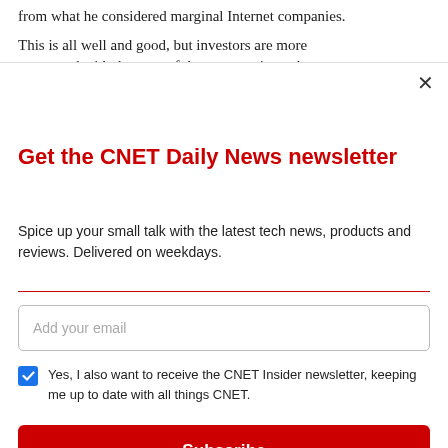from what he considered marginal Internet companies.
This is all well and good, but investors are more concerned with the state of the company's stock
Get the CNET Daily News newsletter
Spice up your small talk with the latest tech news, products and reviews. Delivered on weekdays.
Add your email
Yes, I also want to receive the CNET Insider newsletter, keeping me up to date with all things CNET.
Subscribe
By signing up, you agree to our Terms of Use and acknowledge the data practices in our Privacy Policy. You may unsubscribe at any time.